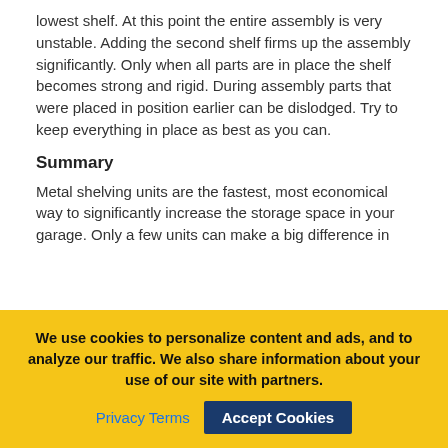lowest shelf. At this point the entire assembly is very unstable. Adding the second shelf firms up the assembly significantly. Only when all parts are in place the shelf becomes strong and rigid. During assembly parts that were placed in position earlier can be dislodged. Try to keep everything in place as best as you can.
Summary
Metal shelving units are the fastest, most economical way to significantly increase the storage space in your garage. Only a few units can make a big difference in your garage.
About the Author
[Figure (photo): Circular portrait photo of Lorenz Prem, a man with short hair]
Lorenz Prem / Staff (Google+) "Lorenz is the founder of Hingmy. When he is not
We use cookies to personalize content and ads, and to analyze our traffic. We also share information about your use of our site with partners.
Privacy Terms   Accept Cookies